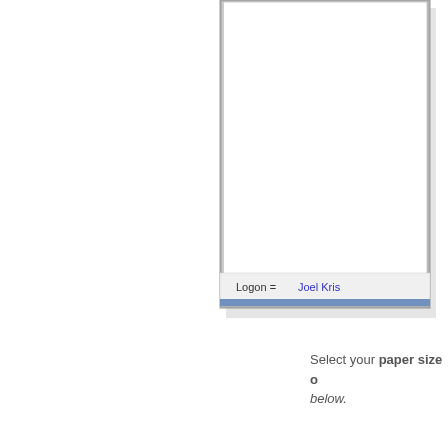[Figure (screenshot): Partial screenshot of a software dialog window showing a status bar at the bottom with 'Logon = Joel Kris...' text in blue on a light gray background, with a blue highlight bar below it. The window has a white content area and gray border.]
Select your paper size o... below.